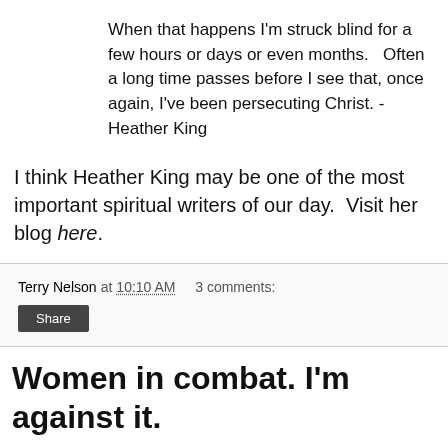When that happens I'm struck blind for a few hours or days or even months.   Often a long time passes before I see that, once again, I've been persecuting Christ. - Heather King
I think Heather King may be one of the most important spiritual writers of our day.  Visit her blog here.
Terry Nelson at 10:10 AM   3 comments:
Share
Women in combat. I'm against it.
[Figure (photo): Black and white historical photo of a group of people, men and women, posing together outdoors]